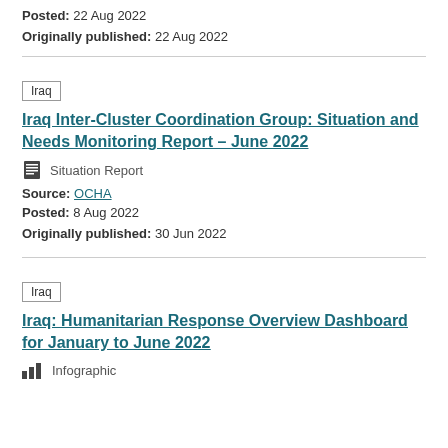Posted: 22 Aug 2022
Originally published: 22 Aug 2022
Iraq Inter-Cluster Coordination Group: Situation and Needs Monitoring Report – June 2022
Situation Report
Source: OCHA
Posted: 8 Aug 2022
Originally published: 30 Jun 2022
Iraq: Humanitarian Response Overview Dashboard for January to June 2022
Infographic